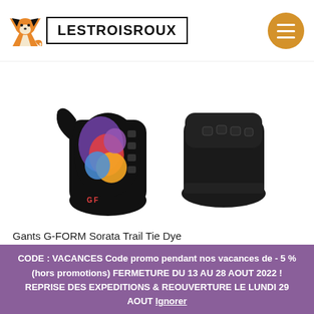[Figure (logo): Fox mascot logo and LESTROISROUX brand name in bordered box, with orange hamburger menu button top right]
[Figure (photo): Product photo of G-FORM Sorata Trail Tie Dye gloves on white background showing colorful tie-dye pattern on black gloves]
Gants G-FORM Sorata Trail Tie Dye
24,99€
CODE : VACANCES Code promo pendant nos vacances de - 5 % (hors promotions) FERMETURE DU 13 AU 28 AOUT 2022 ! REPRISE DES EXPEDITIONS & REOUVERTURE LE LUNDI 29 AOUT Ignorer